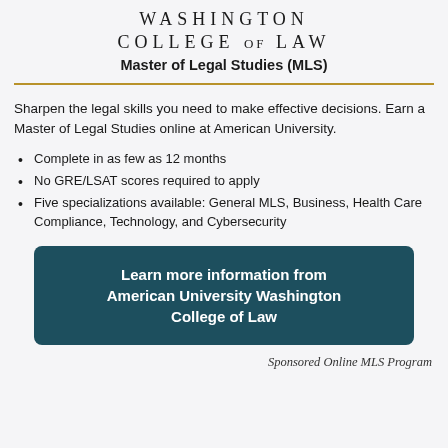WASHINGTON COLLEGE OF LAW
Master of Legal Studies (MLS)
Sharpen the legal skills you need to make effective decisions. Earn a Master of Legal Studies online at American University.
Complete in as few as 12 months
No GRE/LSAT scores required to apply
Five specializations available: General MLS, Business, Health Care Compliance, Technology, and Cybersecurity
Learn more information from American University Washington College of Law
Sponsored Online MLS Program